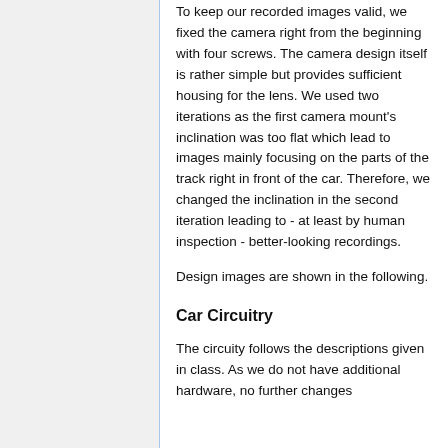To keep our recorded images valid, we fixed the camera right from the beginning with four screws. The camera design itself is rather simple but provides sufficient housing for the lens. We used two iterations as the first camera mount's inclination was too flat which lead to images mainly focusing on the parts of the track right in front of the car. Therefore, we changed the inclination in the second iteration leading to - at least by human inspection - better-looking recordings.
Design images are shown in the following.
Car Circuitry
The circuity follows the descriptions given in class. As we do not have additional hardware, no further changes